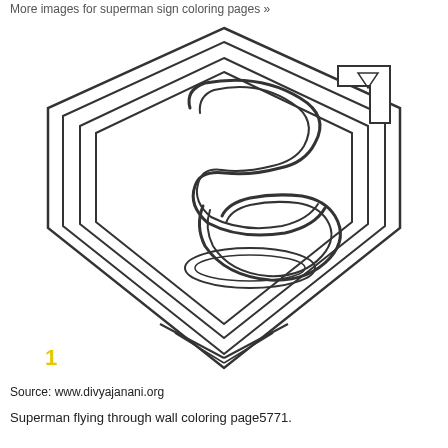More images for superman sign coloring pages »
[Figure (illustration): Superman logo coloring page outline — diamond/pentagon shield shape with nested borders and stylized 'S' letter outline in black and white]
1
Source: www.divyajanani.org
Superman flying through wall coloring page5771.